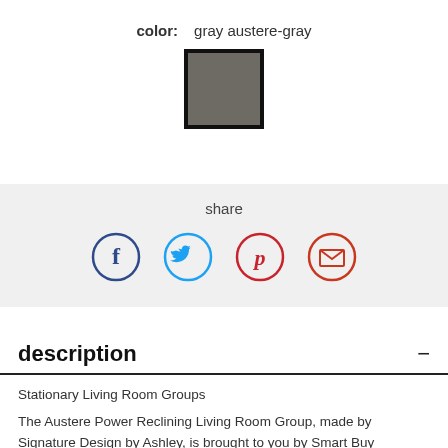color: gray austere-gray
[Figure (other): Color swatch showing a gray austere-gray fabric sample with a black border]
share
[Figure (other): Social share icons: Facebook (dark blue circle), Twitter (light blue circle), Pinterest (red circle), Email (red circle)]
description
Stationary Living Room Groups
The Austere Power Reclining Living Room Group, made by Signature Design by Ashley, is brought to you by Smart Buy Furniture. Smart Buy Furniture is a local furniture store, serving the Las Cruces, Deming, Alamogordo, Hatch, El Paso, White Sand...